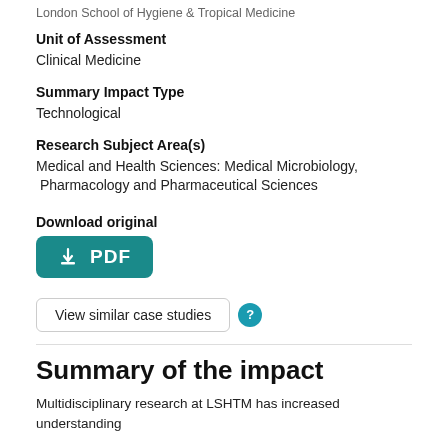London School of Hygiene & Tropical Medicine
Unit of Assessment
Clinical Medicine
Summary Impact Type
Technological
Research Subject Area(s)
Medical and Health Sciences: Medical Microbiology, Pharmacology and Pharmaceutical Sciences
Download original
[Figure (other): PDF download button (teal/dark cyan rounded rectangle with download icon and PDF label)]
View similar case studies
Summary of the impact
Multidisciplinary research at LSHTM has increased understanding